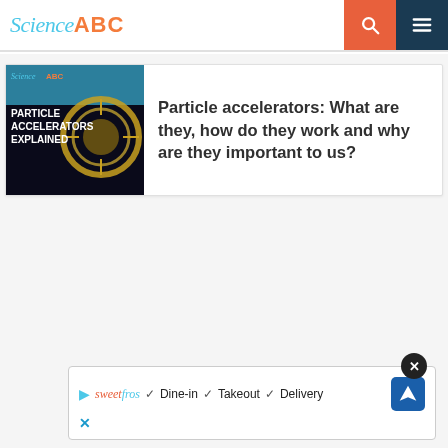Science ABC
[Figure (screenshot): Thumbnail image for article about Particle Accelerators Explained, dark background with circular accelerator graphic and bold white text]
Particle accelerators: What are they, how do they work and why are they important to us?
[Figure (screenshot): Advertisement banner from sweetfros showing: Dine-in, Takeout, Delivery with checkmarks and a blue navigation arrow button]